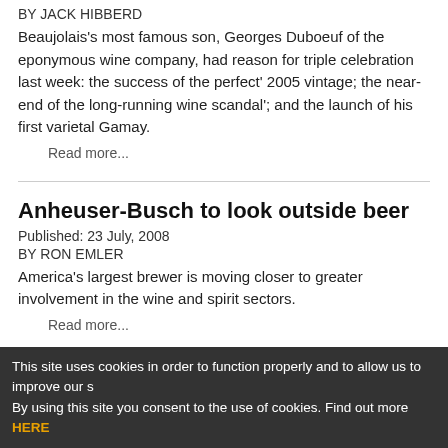BY JACK HIBBERD
Beaujolais's most famous son, Georges Duboeuf of the eponymous wine company, had reason for triple celebration last week: the success of the perfect' 2005 vintage; the near-end of the long-running wine scandal'; and the launch of his first varietal Gamay.
Read more...
Anheuser-Busch to look outside beer
Published:  23 July, 2008
BY RON EMLER
America's largest brewer is moving closer to greater involvement in the wine and spirit sectors.
Read more...
Ian Dunkerley, chef/proprietor, Dunkerleys
This site uses cookies in order to function properly and to allow us to improve our s By using this site you consent to the use of cookies. Find out more HERE